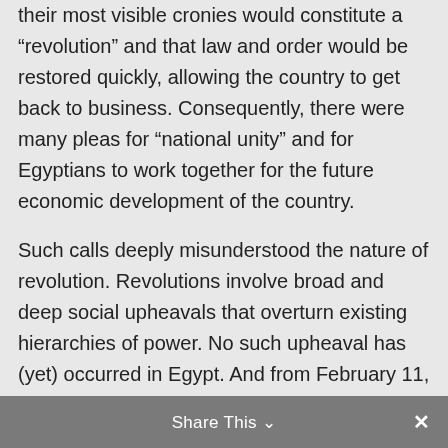their most visible cronies would constitute a "revolution" and that law and order would be restored quickly, allowing the country to get back to business. Consequently, there were many pleas for "national unity" and for Egyptians to work together for the future economic development of the country.
Such calls deeply misunderstood the nature of revolution. Revolutions involve broad and deep social upheavals that overturn existing hierarchies of power. No such upheaval has (yet) occurred in Egypt. And from February 11, 2011 to the present the SCAF has done everything in its power to prevent one from occurring.
Share This ∨  ×